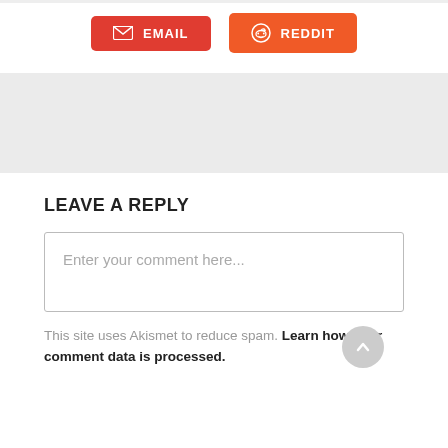[Figure (other): Email and Reddit social share buttons at the top of the page]
LEAVE A REPLY
Enter your comment here...
This site uses Akismet to reduce spam. Learn how your comment data is processed.